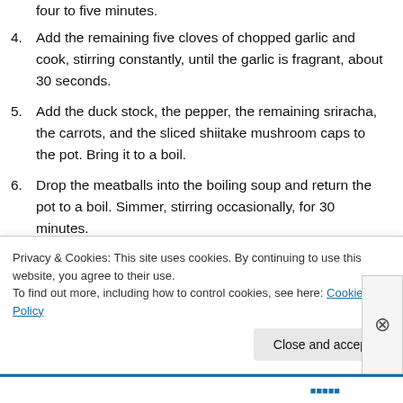four to five minutes.
4. Add the remaining five cloves of chopped garlic and cook, stirring constantly, until the garlic is fragrant, about 30 seconds.
5. Add the duck stock, the pepper, the remaining sriracha, the carrots, and the sliced shiitake mushroom caps to the pot. Bring it to a boil.
6. Drop the meatballs into the boiling soup and return the pot to a boil. Simmer, stirring occasionally, for 30 minutes.
Privacy & Cookies: This site uses cookies. By continuing to use this website, you agree to their use. To find out more, including how to control cookies, see here: Cookie Policy